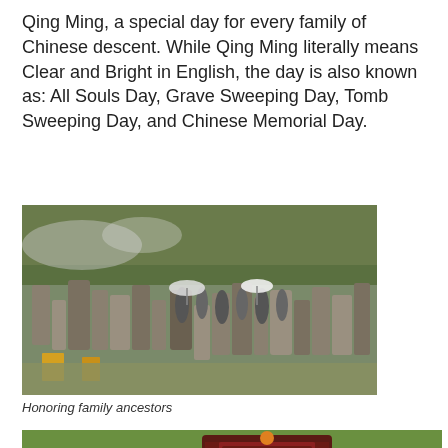Qing Ming, a special day for every family of Chinese descent. While Qing Ming literally means Clear and Bright in English, the day is also known as: All Souls Day, Grave Sweeping Day, Tomb Sweeping Day, and Chinese Memorial Day.
[Figure (photo): A crowd of people visiting a cemetery with many stone grave markers and statues, trees visible in the background, some people holding umbrellas.]
Honoring family ancestors
[Figure (photo): Two people bowing at a grave marker that reads 'CHIU', with green grass around and a red and brown gravestone.]